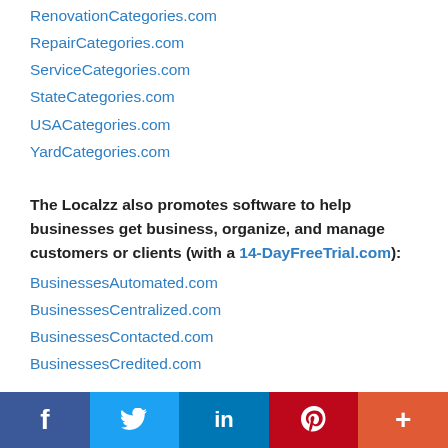RenovationCategories.com
RepairCategories.com
ServiceCategories.com
StateCategories.com
USACategories.com
YardCategories.com
The Localzz also promotes software to help businesses get business, organize, and manage customers or clients (with a 14-DayFreeTrial.com):
BusinessesAutomated.com
BusinessesCentralized.com
BusinessesContacted.com
BusinessesCredited.com
[Figure (other): Social media share bar with Facebook, Twitter, LinkedIn, Pinterest, and More buttons]